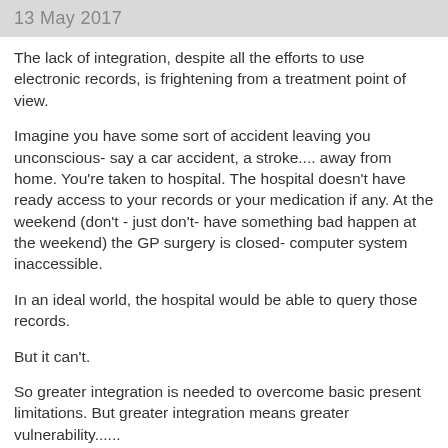13 May 2017
The lack of integration, despite all the efforts to use electronic records, is frightening from a treatment point of view.
Imagine you have some sort of accident leaving you unconscious- say a car accident, a stroke.... away from home. You're taken to hospital. The hospital doesn't have ready access to your records or your medication if any. At the weekend (don't - just don't- have something bad happen at the weekend) the GP surgery is closed- computer system inaccessible.
In an ideal world, the hospital would be able to query those records.
But it can't.
So greater integration is needed to overcome basic present limitations. But greater integration means greater vulnerability......
This lack of integration is evident at the lowest level, meaning I, as Power of Attorney for my mother, had to